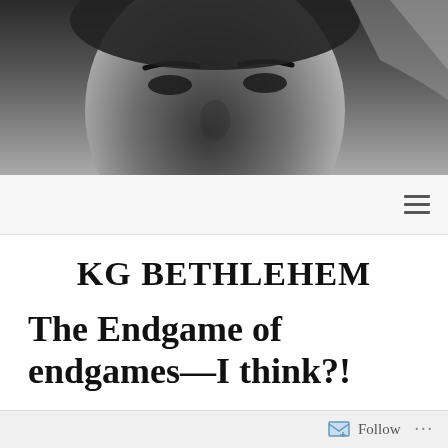[Figure (photo): Black and white close-up photo of a man's face, cropped to show eyes and upper face]
KG BETHLEHEM
The Endgame of endgames—I think?!
Posted on January 31, 2015 by kgbethlehem
Follow